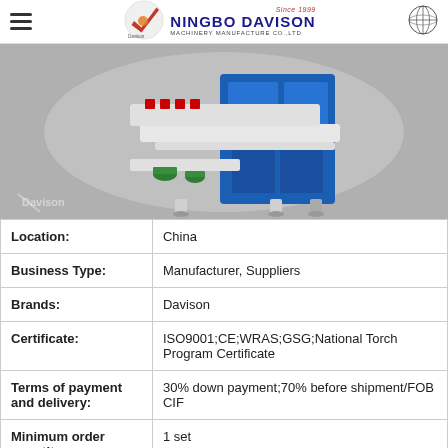Ningbo Davison Machinery Manufacture Co., Ltd — Since 1999
[Figure (photo): Industrial machinery — a printing or marking machine with white and blue cabinet, on a gray background. Davison logo visible in lower left.]
| Location: | China |
| Business Type: | Manufacturer, Suppliers |
| Brands: | Davison |
| Certificate: | ISO9001;CE;WRAS;GSG;National Torch Program Certificate |
| Terms of payment and delivery: | 30% down payment;70% before shipment/FOB CIF |
| Minimum order quantity: | 1 set |